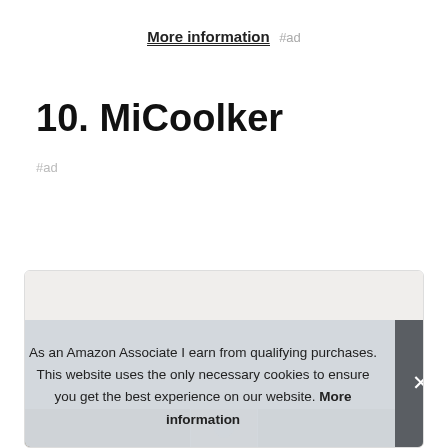More information #ad
10. MiCoolker
#ad
[Figure (photo): Product card container with image strip at bottom showing product images]
As an Amazon Associate I earn from qualifying purchases. This website uses the only necessary cookies to ensure you get the best experience on our website. More information